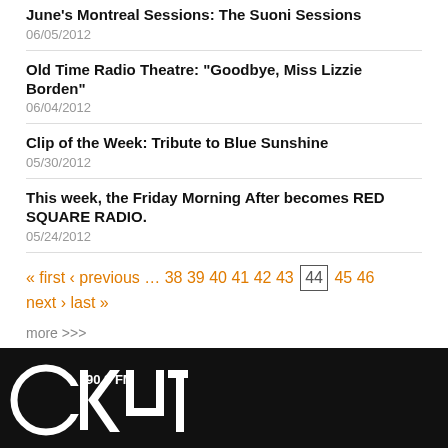June's Montreal Sessions: The Suoni Sessions
06/05/2012
Old Time Radio Theatre: "Goodbye, Miss Lizzie Borden"
06/04/2012
Clip of the Week: Tribute to Blue Sunshine
05/30/2012
This week, the Friday Morning After becomes RED SQUARE RADIO.
05/24/2012
« first ‹ previous … 38 39 40 41 42 43 44 45 46 next › last »
more >>>
[Figure (logo): CKUT 90.3 FM radio station logo in white on black background]